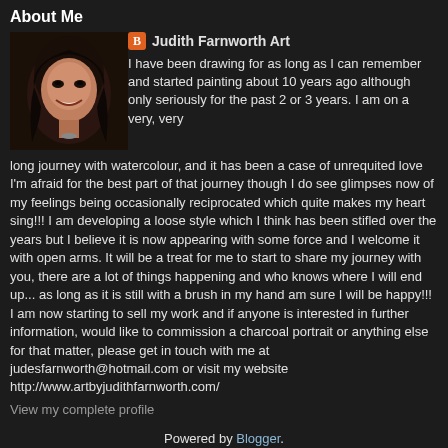About Me
[Figure (photo): Profile photo of Judith Farnworth - a woman with dark hair smiling, shown in a small square thumbnail]
Judith Farnworth Art
I have been drawing for as long as I can remember and started painting about 10 years ago although only seriously for the past 2 or 3 years. I am on a very, very long journey with watercolour, and it has been a case of unrequited love I'm afraid for the best part of that journey though I do see glimpses now of my feelings being occasionally reciprocated which quite makes my heart sing!!! I am developing a loose style which I think has been stifled over the years but I believe it is now appearing with some force and I welcome it with open arms. It will be a treat for me to start to share my journey with you, there are a lot of things happening and who knows where I will end up... as long as it is still with a brush in my hand am sure I will be happy!!! I am now starting to sell my work and if anyone is interested in further information, would like to commission a charcoal portrait or anything else for that matter, please get in touch with me at judesfarnworth@hotmail.com or visit my website http://www.artbyjudithfarnworth.com/
View my complete profile
Powered by Blogger.